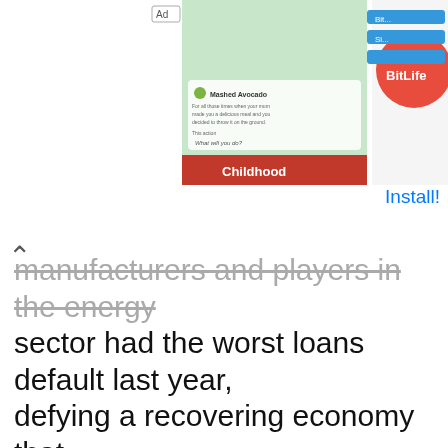[Figure (screenshot): BitLife game advertisement banner at the top of the screen with 'Ad' label and 'Install!' button]
manufacturers and players in the energy sector had the worst loans default last year, defying a recovering economy that expanded at the fastest pace in more than three decades.
[Figure (other): AliExpress Summer Sale advertisement with 'Official picks' text and 'Shop now' button, featuring product images on pink background]